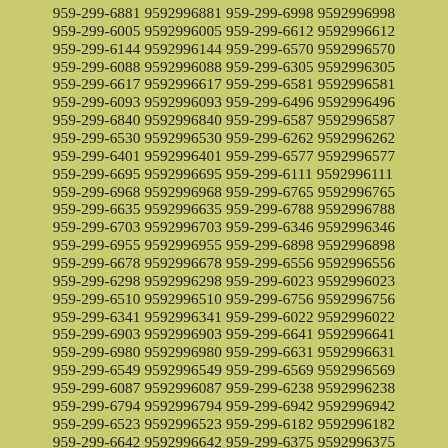959-299-6881 9592996881 959-299-6998 9592996998
959-299-6005 9592996005 959-299-6612 9592996612
959-299-6144 9592996144 959-299-6570 9592996570
959-299-6088 9592996088 959-299-6305 9592996305
959-299-6617 9592996617 959-299-6581 9592996581
959-299-6093 9592996093 959-299-6496 9592996496
959-299-6840 9592996840 959-299-6587 9592996587
959-299-6530 9592996530 959-299-6262 9592996262
959-299-6401 9592996401 959-299-6577 9592996577
959-299-6695 9592996695 959-299-6111 9592996111
959-299-6968 9592996968 959-299-6765 9592996765
959-299-6635 9592996635 959-299-6788 9592996788
959-299-6703 9592996703 959-299-6346 9592996346
959-299-6955 9592996955 959-299-6898 9592996898
959-299-6678 9592996678 959-299-6556 9592996556
959-299-6298 9592996298 959-299-6023 9592996023
959-299-6510 9592996510 959-299-6756 9592996756
959-299-6341 9592996341 959-299-6022 9592996022
959-299-6903 9592996903 959-299-6641 9592996641
959-299-6980 9592996980 959-299-6631 9592996631
959-299-6549 9592996549 959-299-6569 9592996569
959-299-6087 9592996087 959-299-6238 9592996238
959-299-6794 9592996794 959-299-6942 9592996942
959-299-6523 9592996523 959-299-6182 9592996182
959-299-6642 9592996642 959-299-6375 9592996375